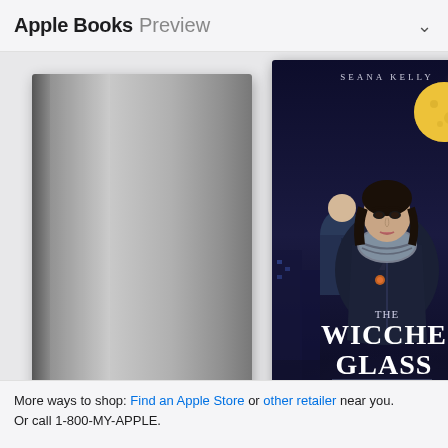Apple Books Preview
[Figure (photo): Grey placeholder book cover for 'The Hob and Hound Pub']
[Figure (photo): Book cover for 'The Wicche Glass Tavern' by Seana Kelly, Sam Quinn Book 3, featuring a woman in a leather jacket and scarf with a man in background under a full moon against a dark cityscape]
[Figure (photo): Partially visible third book cover, cropped at right edge]
The Hob and Hound Pub
2022
The Wicche Glass Tavern
2021
Th
La
20
More ways to shop: Find an Apple Store or other retailer near you.
Or call 1-800-MY-APPLE.